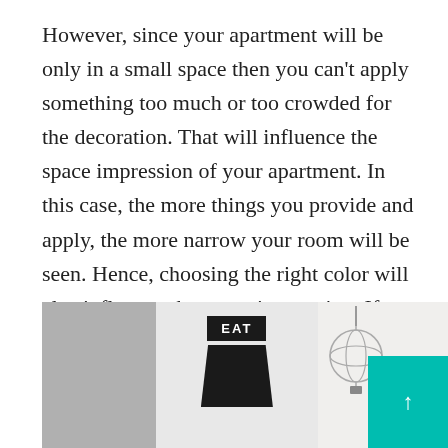However, since your apartment will be only in a small space then you can't apply something too much or too crowded for the decoration. That will influence the space impression of your apartment. In this case, the more things you provide and apply, the more narrow your room will be seen. Hence, choosing the right color will also influence the space impression. If you want to have a spacious impression, you can choose the light or bright color than the bold and dark one.
[Figure (photo): Interior photo of a dining/kitchen area showing a black table lamp with a black lampshade, a sign reading 'EAT', a spherical metallic chandelier, white cabinetry in the background, and a teal colored button/box in the bottom right corner with an up arrow.]